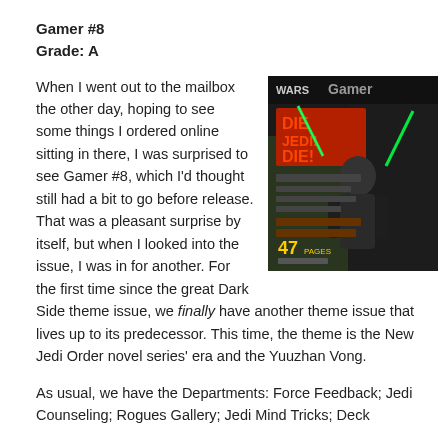Gamer #8
Grade: A
[Figure (photo): Cover of Star Wars Gamer #8 magazine featuring 'Die Jedi Die!' headline and a Jedi character with lightsabers, text mentions '47 Pages']
When I went out to the mailbox the other day, hoping to see some things I ordered online sitting in there, I was surprised to see Gamer #8, which I'd thought still had a bit to go before release. That was a pleasant surprise by itself, but when I looked into the issue, I was in for another. For the first time since the great Dark Side theme issue, we finally have another theme issue that lives up to its predecessor. This time, the theme is the New Jedi Order novel series' era and the Yuuzhan Vong.
As usual, we have the Departments: Force Feedback; Jedi Counseling; Rogues Gallery; Jedi Mind Tricks; Deck